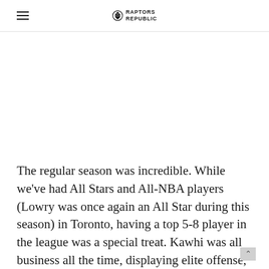RAPTORS REPUBLIC
The regular season was incredible. While we've had All Stars and All-NBA players (Lowry was once again an All Star during this season) in Toronto, having a top 5-8 player in the league was a special treat. Kawhi was all business all the time, displaying elite offense, defense, and decision making. We fully expected the team to